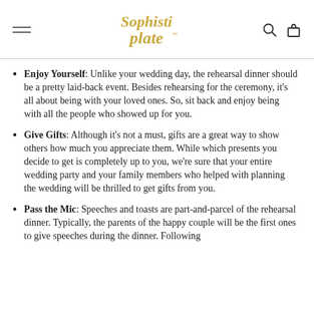Sophisti Plate logo with hamburger menu, search and cart icons
Enjoy Yourself: Unlike your wedding day, the rehearsal dinner should be a pretty laid-back event. Besides rehearsing for the ceremony, it's all about being with your loved ones. So, sit back and enjoy being with all the people who showed up for you.
Give Gifts: Although it's not a must, gifts are a great way to show others how much you appreciate them. While which presents you decide to get is completely up to you, we're sure that your entire wedding party and your family members who helped with planning the wedding will be thrilled to get gifts from you.
Pass the Mic: Speeches and toasts are part-and-parcel of the rehearsal dinner. Typically, the parents of the happy couple will be the first ones to give speeches during the dinner. Following